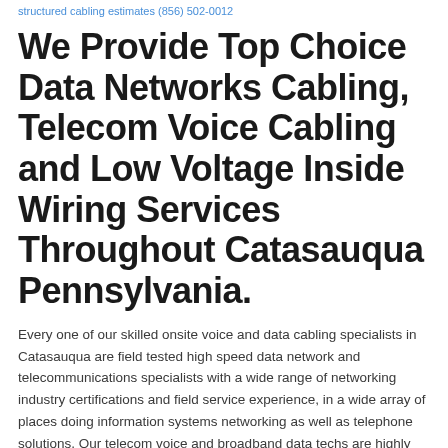structured cabling estimates (856) 502-0012
We Provide Top Choice Data Networks Cabling, Telecom Voice Cabling and Low Voltage Inside Wiring Services Throughout Catasauqua Pennsylvania.
Every one of our skilled onsite voice and data cabling specialists in Catasauqua are field tested high speed data network and telecommunications specialists with a wide range of networking industry certifications and field service experience, in a wide array of places doing information systems networking as well as telephone solutions. Our telecom voice and broadband data techs are highly trained and prepared to handle any network task that you may need from basic data and telephone jack repair services to